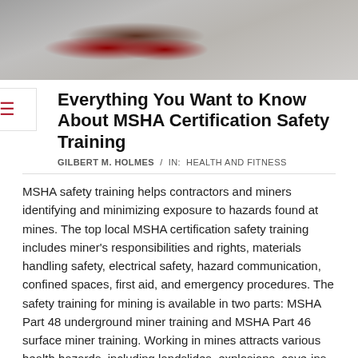[Figure (photo): Overhead/partial view of a person doing push-ups or exercise on a gym floor with red dumbbells, gray background]
Everything You Want to Know About MSHA Certification Safety Training
GILBERT M. HOLMES  /  IN:  HEALTH AND FITNESS
MSHA safety training helps contractors and miners identifying and minimizing exposure to hazards found at mines. The top local MSHA certification safety training includes miner's responsibilities and rights, materials handling safety, electrical safety, hazard communication, confined spaces, first aid, and emergency procedures. The safety training for mining is available in two parts: MSHA Part 48 underground miner training and MSHA Part 46 surface miner training. Working in mines attracts various health hazards, including landslides, explosions, cave-ins, and hazardous materials. Before working at a mine site, you must know the safety and your rights as a miner. The most critical consideration, when